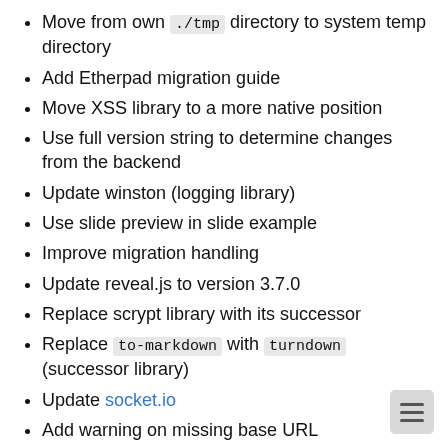Move from own ./tmp directory to system temp directory
Add Etherpad migration guide
Move XSS library to a more native position
Use full version string to determine changes from the backend
Update winston (logging library)
Use slide preview in slide example
Improve migration handling
Update reveal.js to version 3.7.0
Replace scrypt library with its successor
Replace to-markdown with turndown (successor library)
Update socket.io
Add warning on missing base URL
Update bootstrap to version 3.4.0
Update handlebar